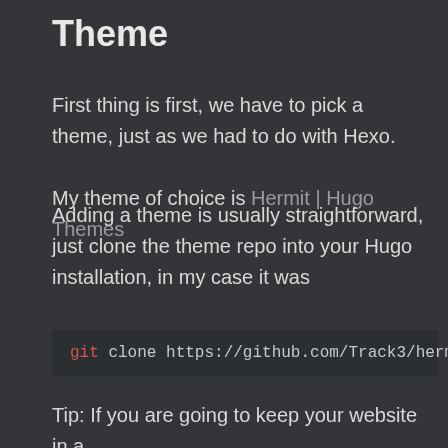Theme
First thing is first, we have to pick a theme, just as we had to do with Hexo.
My theme of choice is Hermit | Hugo Themes
Adding a theme is usually straightforward, just clone the theme repo into your Hugo installation, in my case it was
git clone https://github.com/Track3/hermit.
Tip: If you are going to keep your website in a git repo as I do, you can add your theme as a